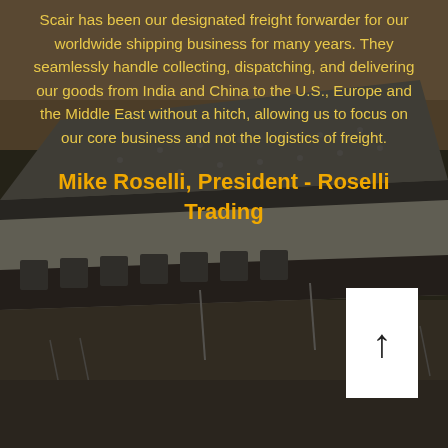[Figure (photo): Aerial view of a large warehouse/distribution center building with a flat roof, loading docks, and parking lot, set against a desert landscape. The image has a dark semi-transparent overlay giving it a moody tone.]
Scair has been our designated freight forwarder for our worldwide shipping business for many years. They seamlessly handle collecting, dispatching, and delivering our goods from India and China to the U.S., Europe and the Middle East without a hitch, allowing us to focus on our core business and not the logistics of freight.
Mike Roselli, President - Roselli Trading